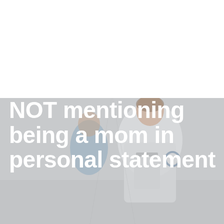[Figure (photo): Background photo of a female doctor in a white coat holding a clipboard, with a nurse in blue scrubs behind her, in a hospital corridor. The image is desaturated/grayish and occupies the bottom portion of the page.]
NOT mentioning being a mom in personal statement